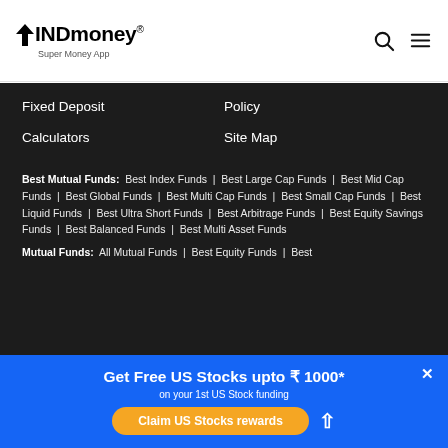INDmoney® Super Money App
Fixed Deposit
Policy
Calculators
Site Map
Best Mutual Funds: Best Index Funds | Best Large Cap Funds | Best Mid Cap Funds | Best Global Funds | Best Multi Cap Funds | Best Small Cap Funds | Best Liquid Funds | Best Ultra Short Funds | Best Arbitrage Funds | Best Equity Savings Funds | Best Balanced Funds | Best Multi Asset Funds
Mutual Funds: All Mutual Funds | Best Equity Funds | Best
Get Free US Stocks upto ₹ 1000*
on your 1st US Stock funding
Claim US Stocks rewards